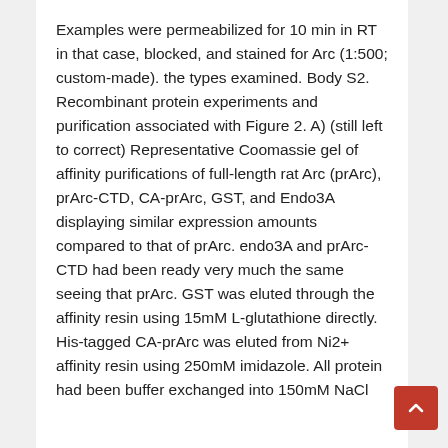Examples were permeabilized for 10 min in RT in that case, blocked, and stained for Arc (1:500; custom-made). the types examined. Body S2. Recombinant protein experiments and purification associated with Figure 2. A) (still left to correct) Representative Coomassie gel of affinity purifications of full-length rat Arc (prArc), prArc-CTD, CA-prArc, GST, and Endo3A displaying similar expression amounts compared to that of prArc. endo3A and prArc-CTD had been ready very much the same seeing that prArc. GST was eluted through the affinity resin using 15mM L-glutathione directly. His-tagged CA-prArc was eluted from Ni2+ affinity resin using 250mM imidazole. All protein had been buffer exchanged into 150mM NaCl